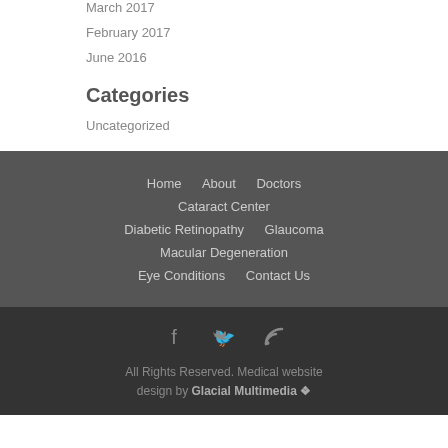March 2017
February 2017
June 2016
Categories
Uncategorized
Home  About  Doctors  Cataract Center  Diabetic Retinopathy  Glaucoma  Macular Degeneration  Eye Conditions  Contact Us
All Rights Reserved. Medical website design by Glacial Multimedia ❖